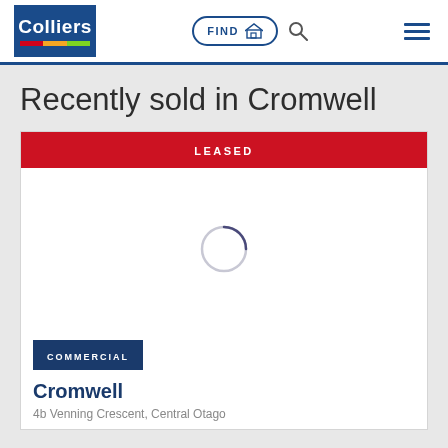[Figure (logo): Colliers logo — white text on dark blue background with red, yellow, green horizontal stripes]
FIND
[Figure (screenshot): Loading spinner (partial circle arc) indicating image is loading]
Recently sold in Cromwell
LEASED
COMMERCIAL
Cromwell
4b Venning Crescent, Central Otago